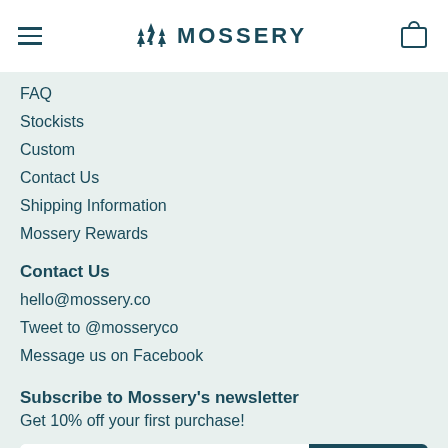MOSSERY
FAQ
Stockists
Custom
Contact Us
Shipping Information
Mossery Rewards
Contact Us
hello@mossery.co
Tweet to @mosseryco
Message us on Facebook
Subscribe to Mossery's newsletter
Get 10% off your first purchase!
E-mail | Subscribe
[Figure (other): Social media icons: Instagram, Twitter, Facebook]